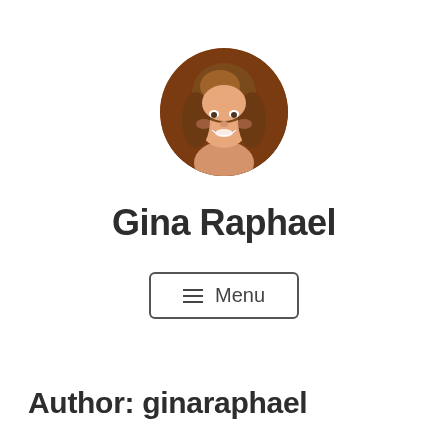[Figure (photo): Circular profile photo of Gina Raphael, a woman with brown hair, smiling]
Gina Raphael
≡ Menu
Author: ginaraphael